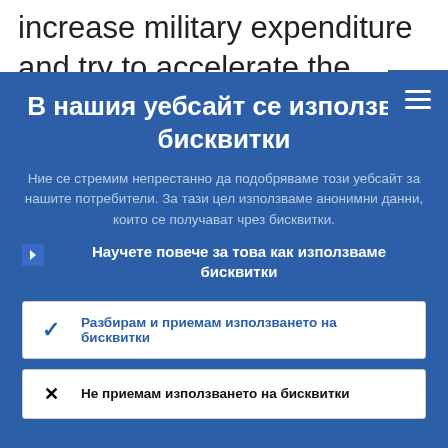increase military expenditure and try to accelerate the energy transition to reduce
В нашия уебсайт се използват бисквитки
Ние се стремим непрестанно да подобряваме този уебсайт за нашите потребители. За тази цел използваме анонимни данни, които се получават чрез бисквитки.
Научете повече за това как използваме бисквитки
Разбирам и приемам използването на бисквитки
Не приемам използването на бисквитки